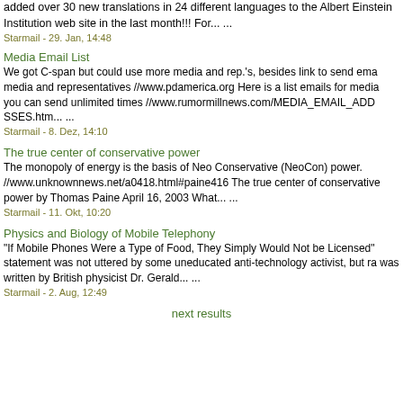added over 30 new translations in 24 different languages to the Albert Einstein Institution web site in the last month!!! For... ...
Starmail - 29. Jan, 14:48
Media Email List
We got C-span but could use more media and rep.'s, besides link to send ema media and representatives //www.pdamerica.org Here is a list emails for media you can send unlimited times //www.rumormillnews.com/MEDIA_EMAIL_ADD SSES.htm... ...
Starmail - 8. Dez, 14:10
The true center of conservative power
The monopoly of energy is the basis of Neo Conservative (NeoCon) power. //www.unknownnews.net/a0418.html#paine416 The true center of conservative power by Thomas Paine April 16, 2003 What... ...
Starmail - 11. Okt, 10:20
Physics and Biology of Mobile Telephony
"If Mobile Phones Were a Type of Food, They Simply Would Not be Licensed" statement was not uttered by some uneducated anti-technology activist, but ra was written by British physicist Dr. Gerald... ...
Starmail - 2. Aug, 12:49
next results